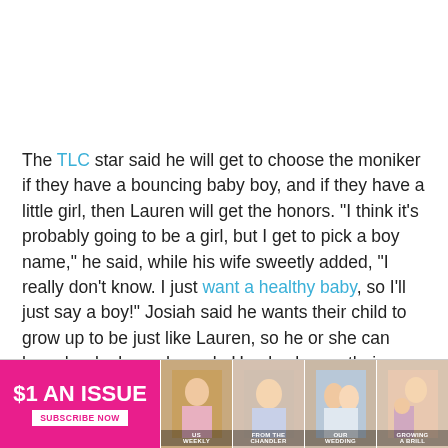The TLC star said he will get to choose the moniker if they have a bouncing baby boy, and if they have a little girl, then Lauren will get the honors. "I think it's probably going to be a girl, but I get to pick a boy name," he said, while his wife sweetly added, "I really don't know. I just want a healthy baby, so I'll just say a boy!" Josiah said he wants their child to grow up to be just like Lauren, so he or she can have her looks and spunk. He also hopes their bundle of joy has his sense of humor.
[Figure (other): Advertisement banner: '$1 AN ISSUE SUBSCRIBE NOW' with magazine cover images]